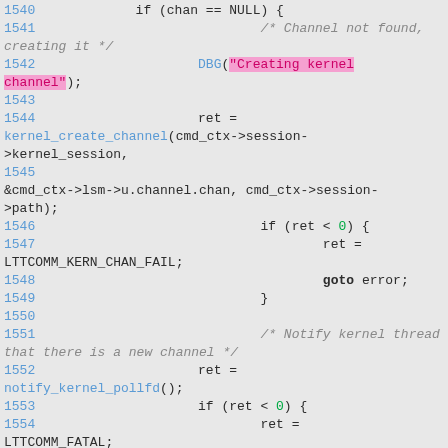[Figure (screenshot): Source code listing showing C code lines 1540-1554, with syntax highlighting. Line numbers in blue, string literals highlighted in pink, numeric literals in green, comments in italic gray, and function names in blue.]